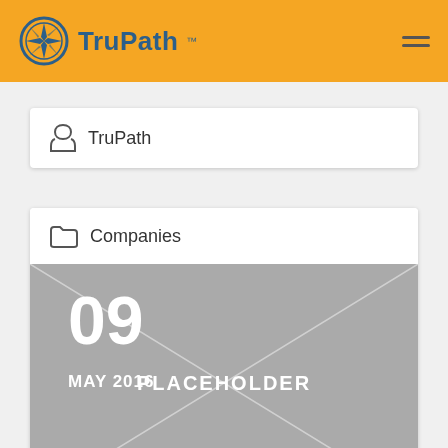TruPath
TruPath
Companies
[Figure (photo): Placeholder image with date 09 MAY 2016 overlaid in white text on grey background, with diagonal lines forming an X pattern. Center text reads PLACEHOLDER.]